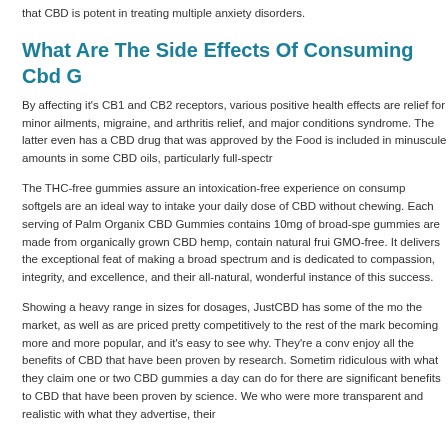that CBD is potent in treating multiple anxiety disorders.
What Are The Side Effects Of Consuming Cbd G
By affecting it's CB1 and CB2 receptors, various positive health effects are relief for minor ailments, migraine, and arthritis relief, and major conditions syndrome. The latter even has a CBD drug that was approved by the Food is included in minuscule amounts in some CBD oils, particularly full-spectr
The THC-free gummies assure an intoxication-free experience on consump softgels are an ideal way to intake your daily dose of CBD without chewing. Each serving of Palm Organix CBD Gummies contains 10mg of broad-spe gummies are made from organically grown CBD hemp, contain natural frui GMO-free. It delivers the exceptional feat of making a broad spectrum and is dedicated to compassion, integrity, and excellence, and their all-natural, wonderful instance of this success.
Showing a heavy range in sizes for dosages, JustCBD has some of the mo the market, as well as are priced pretty competitively to the rest of the mark becoming more and more popular, and it's easy to see why. They're a conv enjoy all the benefits of CBD that have been proven by research. Sometim ridiculous with what they claim one or two CBD gummies a day can do for there are significant benefits to CBD that have been proven by science. We who were more transparent and realistic with what they advertise, their